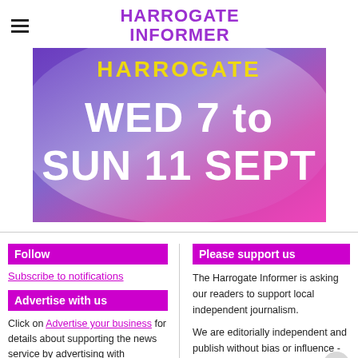HARROGATE INFORMER
[Figure (illustration): Promotional banner for Harrogate event, reading 'WED 7 to SUN 11 SEPT' in large white bold text on a colorful blue, purple and pink gradient background with 'HARROGATE' text visible at top.]
Follow
Subscribe to notifications
Advertise with us
Click on Advertise your business for details about supporting the news service by advertising with
Please support us
The Harrogate Informer is asking our readers to support local independent journalism.
We are editorially independent and publish without bias or influence - there is not a rich